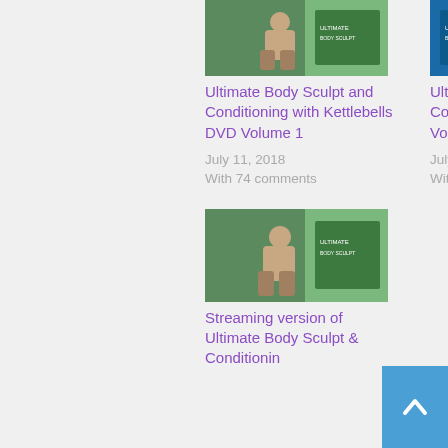[Figure (photo): Thumbnail image for Ultimate Body Sculpt and Conditioning with Kettlebells DVD Volume 1 - green background with person]
Ultimate Body Sculpt and Conditioning with Kettlebells DVD Volume 1
July 11, 2018
With 74 comments
[Figure (photo): Thumbnail image for Ultimate Body Sculpt and Conditioning with Kettlebells Volume 2 - blue/teal background with person]
Ultimate Body Sculpt and Conditioning with Kettlebells Volume 2
July 11, 2018
With 32 comments
[Figure (photo): Thumbnail image for Streaming version of Ultimate Body Sculpt & Conditioning - green background with person]
Streaming version of Ultimate Body Sculpt & Conditionin